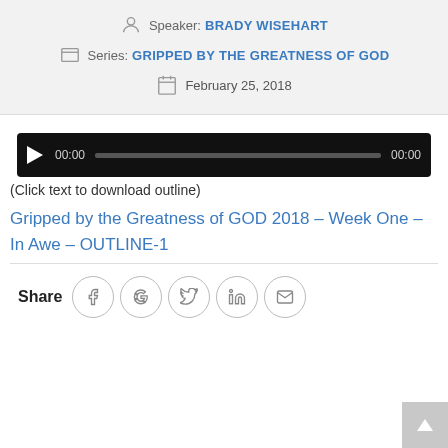Speaker: BRADY WISEHART
Series: GRIPPED BY THE GREATNESS OF GOD
February 25, 2018
[Figure (other): Audio player bar with play button, progress bar showing 00:00 / 00:00]
(Click text to download outline)
Gripped by the Greatness of GOD 2018 – Week One – In Awe – OUTLINE-1
Share
[Figure (other): Social share icons: Facebook, Google, Twitter, LinkedIn, Email in circular outlines]